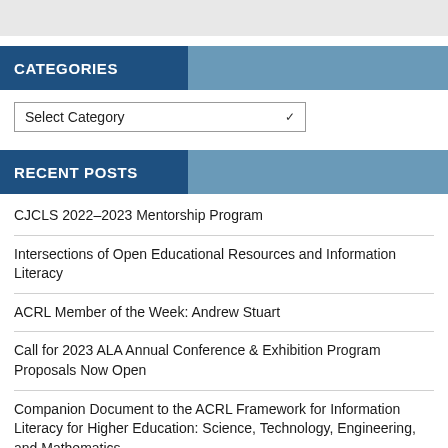CATEGORIES
Select Category
RECENT POSTS
CJCLS 2022–2023 Mentorship Program
Intersections of Open Educational Resources and Information Literacy
ACRL Member of the Week: Andrew Stuart
Call for 2023 ALA Annual Conference & Exhibition Program Proposals Now Open
Companion Document to the ACRL Framework for Information Literacy for Higher Education: Science, Technology, Engineering, and Mathematics